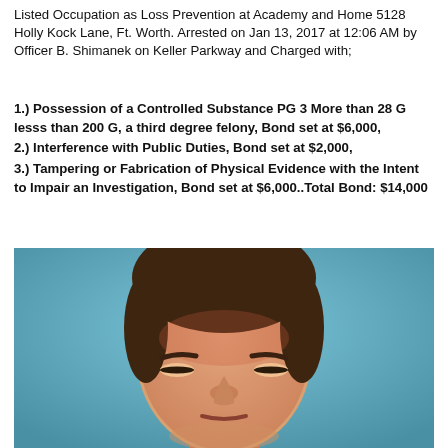Listed Occupation as Loss Prevention at Academy and Home 5128 Holly Kock Lane, Ft. Worth. Arrested on Jan 13, 2017 at 12:06 AM by Officer B. Shimanek on Keller Parkway and Charged with;
1.) Possession of a Controlled Substance PG 3 More than 28 G lesss than 200 G, a third degree felony, Bond set at $6,000,
2.) Interference with Public Duties, Bond set at $2,000,
3.) Tampering or Fabrication of Physical Evidence with the Intent to Impair an Investigation, Bond set at $6,000..Total Bond: $14,000
[Figure (photo): Mugshot photo of a white male with brown hair, light skin with reddish forehead, against a blue background. Face cropped at mid-forehead to just above chin level.]